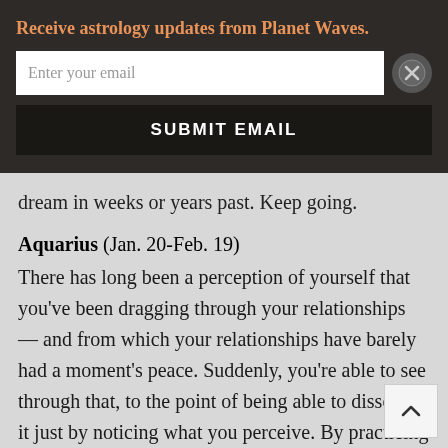Receive astrology updates from Planet Waves.
[Figure (screenshot): Email subscription popup with text input field 'Enter your email', a close (X) button, and a dark 'SUBMIT EMAIL' button]
dream in weeks or years past. Keep going.
Aquarius (Jan. 20-Feb. 19)
There has long been a perception of yourself that you've been dragging through your relationships — and from which your relationships have barely had a moment's peace. Suddenly, you're able to see through that, to the point of being able to dissolve it just by noticing what you perceive. By practicing this skill, you are going a very long way toward liberating yourself from what has, perhaps, been the experience most debilitating to your happiness. It's helping immeasurably that you no